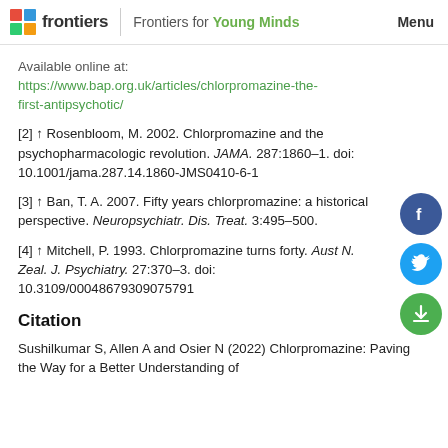frontiers | Frontiers for Young Minds   Menu
Available online at:
https://www.bap.org.uk/articles/chlorpromazine-the-first-antipsychotic/
[2] ↑ Rosenbloom, M. 2002. Chlorpromazine and the psychopharmacologic revolution. JAMA. 287:1860–1. doi: 10.1001/jama.287.14.1860-JMS0410-6-1
[3] ↑ Ban, T. A. 2007. Fifty years chlorpromazine: a historical perspective. Neuropsychiatr. Dis. Treat. 3:495–500.
[4] ↑ Mitchell, P. 1993. Chlorpromazine turns forty. Aust N. Zeal. J. Psychiatry. 27:370–3. doi: 10.3109/00048679309075791
Citation
Sushilkumar S, Allen A and Osier N (2022) Chlorpromazine: Paving the Way for a Better Understanding of